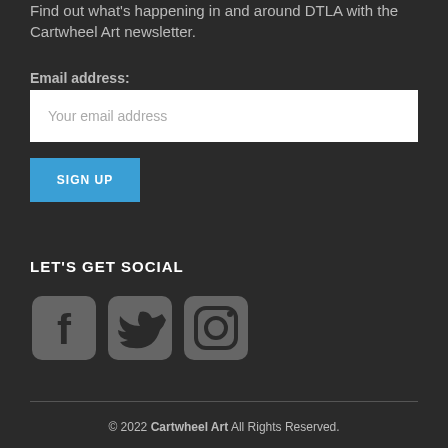Find out what's happening in and around DTLA with the Cartwheel Art newsletter.
Email address:
Your email address
SIGN UP
LET'S GET SOCIAL
[Figure (illustration): Three social media icons: Facebook, Twitter, Instagram in gray color]
© 2022 Cartwheel Art All Rights Reserved.